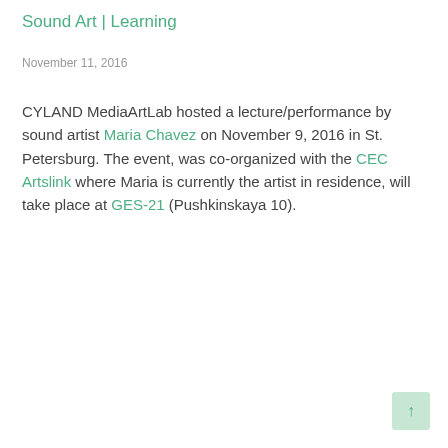Sound Art | Learning
November 11, 2016
CYLAND MediaArtLab hosted a lecture/performance by sound artist Maria Chavez on November 9, 2016 in St. Petersburg. The event, was co-organized with the CEC Artslink where Maria is currently the artist in residence, will take place at GES-21 (Pushkinskaya 10).